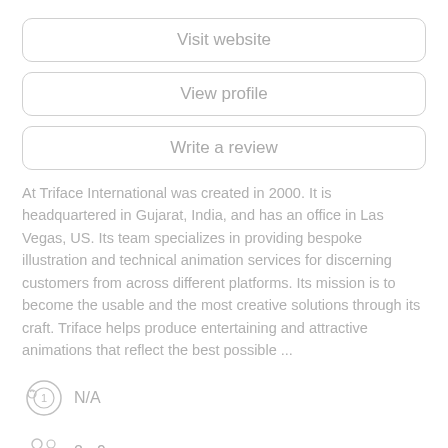Visit website
View profile
Write a review
At Triface International was created in 2000. It is headquartered in Gujarat, India, and has an office in Las Vegas, US. Its team specializes in providing bespoke illustration and technical animation services for discerning customers from across different platforms. Its mission is to become the usable and the most creative solutions through its craft. Triface helps produce entertaining and attractive animations that reflect the best possible ...
N/A
2 - 9
2000